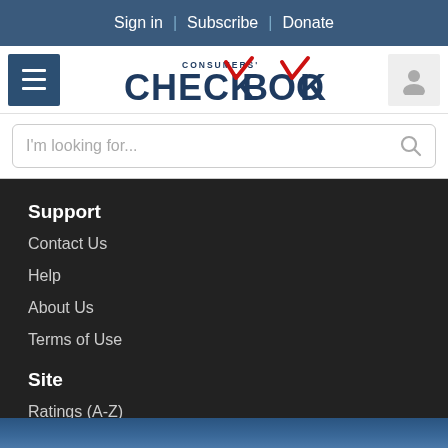Sign in | Subscribe | Donate
[Figure (logo): Consumers' Checkbook logo with red checkmarks]
I'm looking for...
Support
Contact Us
Help
About Us
Terms of Use
Site
Ratings (A-Z)
Subscription
Press Room